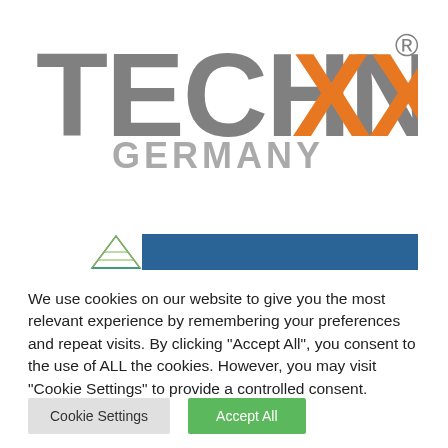[Figure (logo): Technaxx Germany logo — 'TECHNA' in gray bold letters, 'XX' in orange bold letters, registered trademark symbol, 'GERMANY' in gray below]
[Figure (screenshot): Navigation bar with decorative icon on left and blue bar extending to the right]
We use cookies on our website to give you the most relevant experience by remembering your preferences and repeat visits. By clicking "Accept All", you consent to the use of ALL the cookies. However, you may visit "Cookie Settings" to provide a controlled consent.
Cookie Settings | Accept All